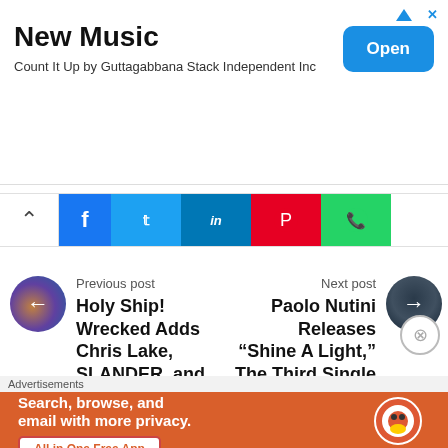[Figure (screenshot): App Store advertisement banner for 'New Music' - Count It Up by Guttagabbana Stack Independent Inc, with blue Open button]
[Figure (infographic): Social media share bar with up-arrow, Facebook, Twitter, LinkedIn, Pinterest, WhatsApp buttons]
Previous post
Holy Ship! Wrecked Adds Chris Lake, SLANDER, and Zeds
Next post
Paolo Nutini Releases “Shine A Light,” The Third Single From Last
Advertisements
[Figure (screenshot): DuckDuckGo advertisement: Search, browse, and email with more privacy. All in One Free App. Shows phone with DuckDuckGo logo.]